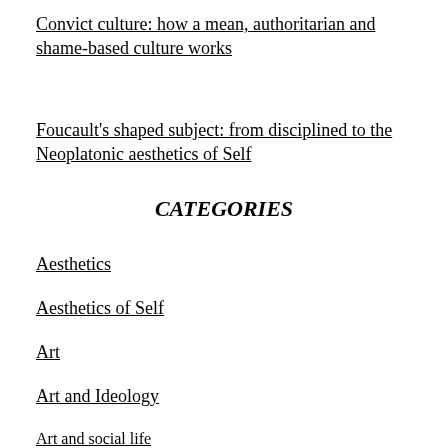Convict culture: how a mean, authoritarian and shame-based culture works
Foucault's shaped subject: from disciplined to the Neoplatonic aesthetics of Self
CATEGORIES
Aesthetics
Aesthetics of Self
Art
Art and Ideology
Art and social life
astronomy
Atom bomb